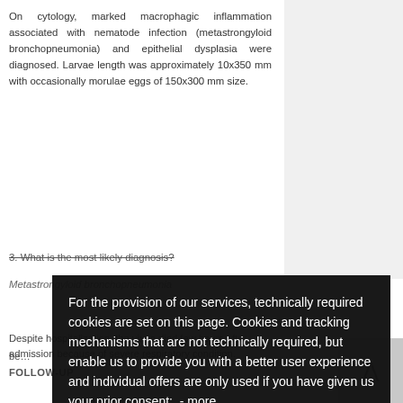On cytology, marked macrophagic inflammation associated with nematode infection (metastrongyloid bronchopneumonia) and epithelial dysplasia were diagnosed. Larvae length was approximately 10x350 mm with occasionally morulae eggs of 150x300 mm size.
3. What is the most likely diagnosis?
Metastrongyloid bronchopneumonia
For the provision of our services, technically required cookies are set on this page. Cookies and tracking mechanisms that are not technically required, but enable us to provide you with a better user experience and individual offers are only used if you have given us your prior consent:  - more
Decline
I agree
Despite hospitalization, the vixen died few hours after admission because of severe respiratory condition.
Zinc sulphate flotation and Baermann technique